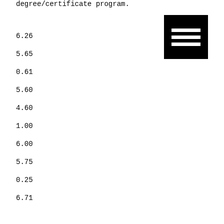degree/certificate program.
6.26
5.65
0.61
5.60
4.60
1.00
6.00
5.75
0.25
6.71
6.17
0.54
6.75
5.86